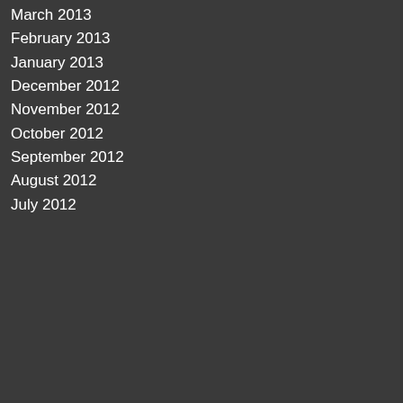March 2013
February 2013
January 2013
December 2012
November 2012
October 2012
September 2012
August 2012
July 2012
RSS Feed